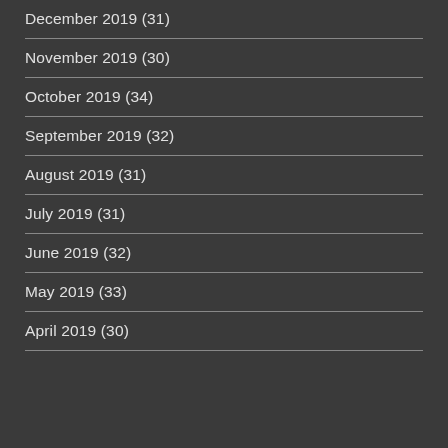December 2019 (31)
November 2019 (30)
October 2019 (34)
September 2019 (32)
August 2019 (31)
July 2019 (31)
June 2019 (32)
May 2019 (33)
April 2019 (30)